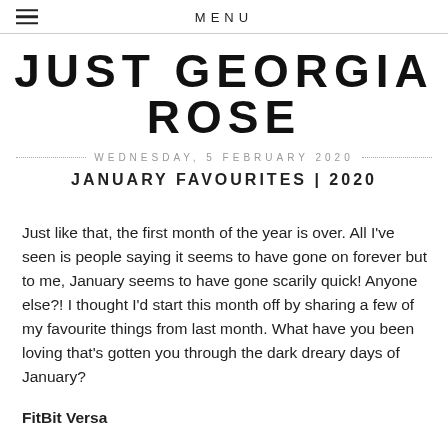MENU
JUST GEORGIA ROSE
WEDNESDAY, 5 FEBRUARY 2020
JANUARY FAVOURITES | 2020
Just like that, the first month of the year is over. All I've seen is people saying it seems to have gone on forever but to me, January seems to have gone scarily quick! Anyone else?! I thought I'd start this month off by sharing a few of my favourite things from last month. What have you been loving that's gotten you through the dark dreary days of January?
FitBit Versa